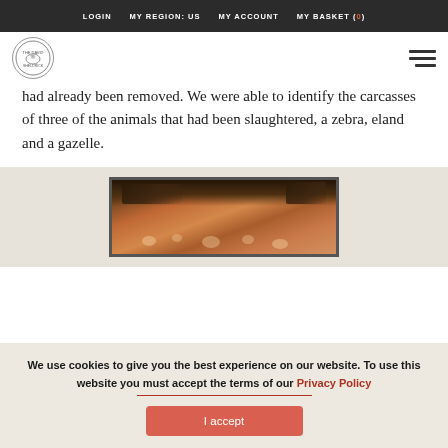LOGIN   MY REGION: US   MY ACCOUNT   MY BASKET (0)
[Figure (logo): Circular logo with animal illustration and text around the border]
had already been removed. We were able to identify the carcasses of three of the animals that had been slaughtered, a zebra, eland and a gazelle.
[Figure (photo): Photograph showing animal carcasses or remains on red-brown earth with dry vegetation]
We use cookies to give you the best experience on our website. To use this website you must accept the terms of our Privacy Policy
I accept